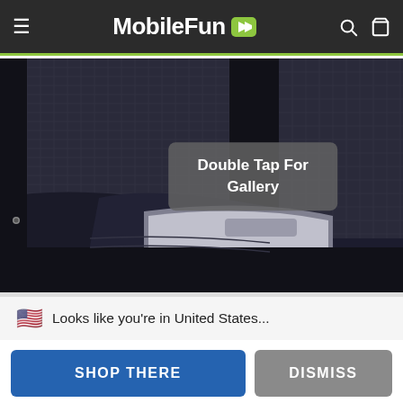[Figure (screenshot): MobileFun website navigation bar with hamburger menu, MobileFun logo with green play icon, search and cart icons on dark background with green bottom border]
[Figure (photo): Car window with black mesh sun shade/screen visible on door window, interior car door panel with silver trim handle visible. Overlay tooltip reads 'Double Tap For Gallery']
🇺🇸  Looks like you're in United States...
SHOP THERE
DISMISS